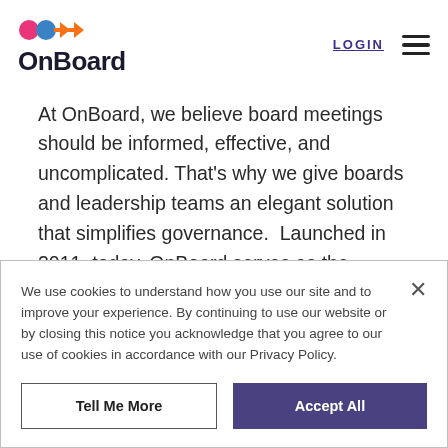[Figure (logo): OnBoard logo with colorful dot and arrow icon above the word OnBoard in dark bold text]
LOGIN
At OnBoard, we believe board meetings should be informed, effective, and uncomplicated. That's why we give boards and leadership teams an elegant solution that simplifies governance.  Launched in 2011, today, OnBoard serves as the
We use cookies to understand how you use our site and to improve your experience. By continuing to use our website or by closing this notice you acknowledge that you agree to our use of cookies in accordance with our Privacy Policy.
Tell Me More
Accept All